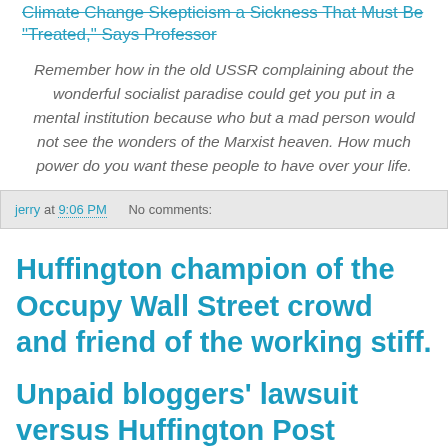Climate Change Skepticism a Sickness That Must Be "Treated," Says Professor
Remember how in the old USSR complaining about the wonderful socialist paradise could get you put in a mental institution because who but a mad person would not see the wonders of the Marxist heaven. How much power do you want these people to have over your life.
jerry at 9:06 PM    No comments:
Huffington champion of the Occupy Wall Street crowd and friend of the working stiff.
Unpaid bloggers' lawsuit versus Huffington Post tossed